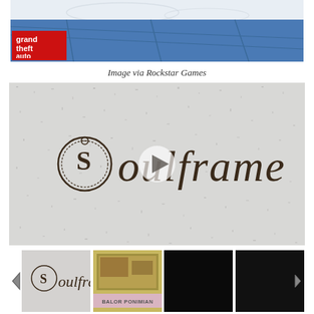[Figure (screenshot): Top portion of a GTA Online screenshot showing blue pavement/road surface with the Grand Theft Auto Online logo in the bottom-left corner]
Image via Rockstar Games
[Figure (screenshot): Soulframe logo in gothic/blackletter font on a stone/granite textured white background, with a play button overlay indicating a video thumbnail]
[Figure (screenshot): Thumbnail strip with four images: Soulframe logo, a video thumbnail with BALOR PONIMIAN label, a dark/black screen, and another dark screen. Navigation arrows on left and right.]